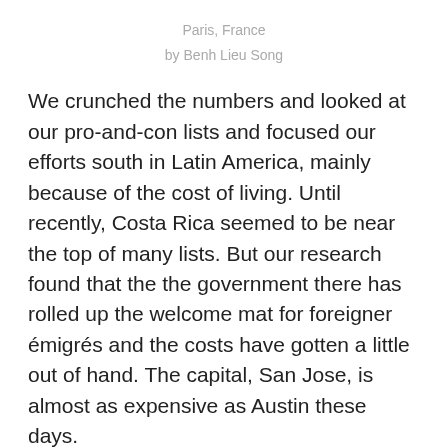Paris, France
by Benh Lieu Song
We crunched the numbers and looked at our pro-and-con lists and focused our efforts south in Latin America, mainly because of the cost of living. Until recently, Costa Rica seemed to be near the top of many lists. But our research found that the the government there has rolled up the welcome mat for foreigner émigrés and the costs have gotten a little out of hand. The capital, San Jose, is almost as expensive as Austin these days.
In her Overseas Opportunity Letter, Kathleen kept raving about Uruguay. More European than some parts of Europe these days, it has the gentle seasons we were used to in the Texas Hill